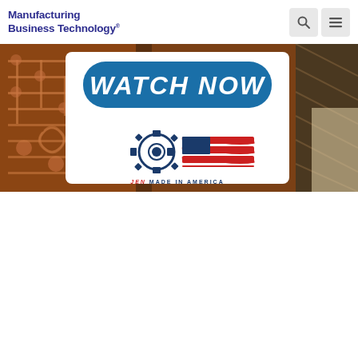Manufacturing Business Technology
[Figure (screenshot): Hero banner showing PCB/circuit board background with a white card overlay containing a blue 'WATCH NOW' button and the JEN Made in America logo (gear + American flag stripes with 'JEN MADE IN AMERICA' text)]